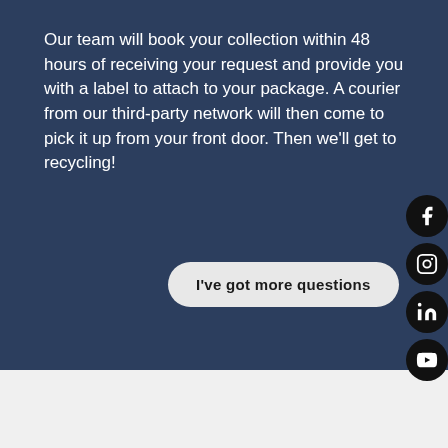Our team will book your collection within 48 hours of receiving your request and provide you with a label to attach to your package. A courier from our third-party network will then come to pick it up from your front door. Then we'll get to recycling!
[Figure (other): CTA button reading 'I've got more questions' with rounded pill shape on dark navy background]
[Figure (other): Four circular social media icons stacked vertically on the right side: Facebook, Instagram, LinkedIn, YouTube]